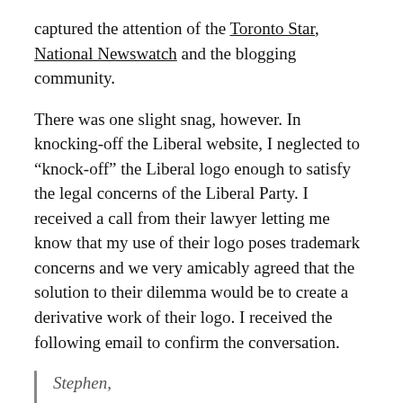captured the attention of the Toronto Star, National Newswatch and the blogging community.
There was one slight snag, however. In knocking-off the Liberal website, I neglected to “knock-off” the Liberal logo enough to satisfy the legal concerns of the Liberal Party. I received a call from their lawyer letting me know that my use of their logo poses trademark concerns and we very amicably agreed that the solution to their dilemma would be to create a derivative work of their logo. I received the following email to confirm the conversation.
Stephen,

This is to confirm our conversation of a few minutes ago.